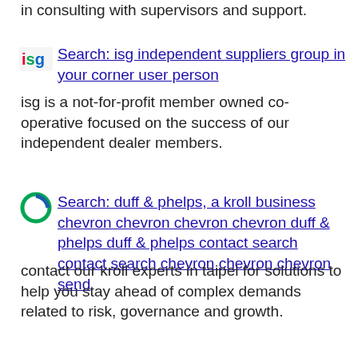in consulting with supervisors and support.
[Figure (logo): ISG colorful logo icon]
Search: isg independent suppliers group in your corner user person
isg is a not-for-profit member owned co-operative focused on the success of our independent dealer members.
[Figure (logo): Duff & Phelps / Kroll circular arrow logo icon]
Search: duff & phelps, a kroll business chevron chevron chevron chevron duff & phelps duff & phelps contact search contact search chevron chevron chevron send
contact our kroll experts in taipei for solutions to help you stay ahead of complex demands related to risk, governance and growth.
[Figure (logo): HWS red and grey logo icon]
Search: hws chevron left chevron right angle double up carosbaum lieferung mannliche menschliche gruppe plus linkedin facebook pinterest youtube rss twitter instagram facebook blank rss blank linkedin blank pinterest youtube twitter instagram